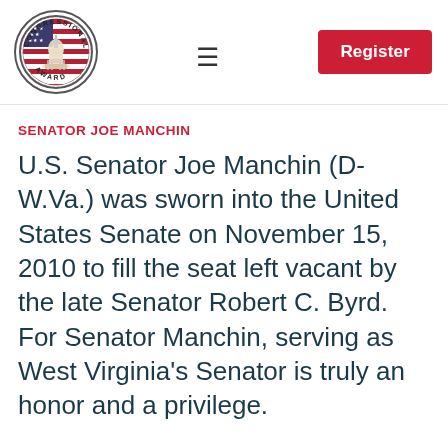[Figure (logo): Congressional Award circular seal/logo with US Capitol building and American flag in the center, surrounded by text 'CONGRESSIONAL AWARD']
SENATOR JOE MANCHIN
U.S. Senator Joe Manchin (D-W.Va.) was sworn into the United States Senate on November 15, 2010 to fill the seat left vacant by the late Senator Robert C. Byrd. For Senator Manchin, serving as West Virginia's Senator is truly an honor and a privilege.